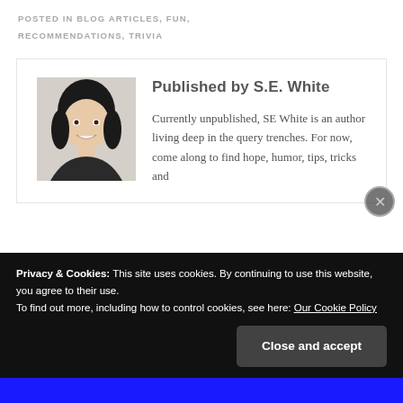POSTED IN BLOG ARTICLES, FUN, RECOMMENDATIONS, TRIVIA
Published by S.E. White
Currently unpublished, SE White is an author living deep in the query trenches. For now, come along to find hope, humor, tips, tricks and
Privacy & Cookies: This site uses cookies. By continuing to use this website, you agree to their use.
To find out more, including how to control cookies, see here: Our Cookie Policy
Close and accept